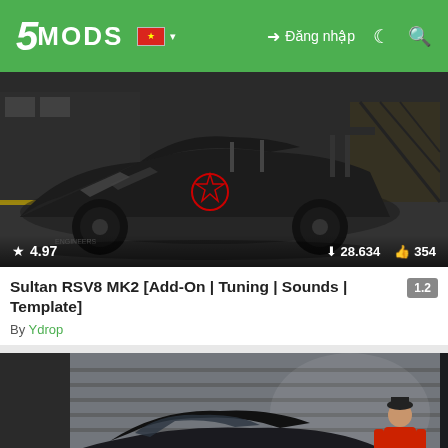5MODS — Đăng nhập
[Figure (screenshot): Screenshot of a dark matte black drift/race car mod for GTA V (Sultan RSV8 MK2) with large rear wing and star emblem, showing rating 4.97, downloads 28.634, likes 354]
Sultan RSV8 MK2 [Add-On | Tuning | Sounds | Template] 1.2
By Ydrop
[Figure (screenshot): Screenshot of a black sports car with red accents in a parking area with a character wearing a red jacket standing nearby]